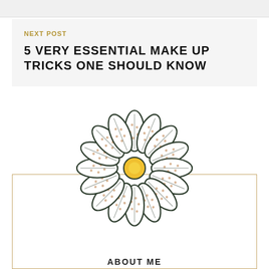NEXT POST
5 VERY ESSENTIAL MAKE UP TRICKS ONE SHOULD KNOW
[Figure (illustration): A decorative daisy/flower illustration with polka-dotted white petals outlined in dark green/black and a yellow center, used as a blog decorative element above an 'About Me' section box.]
ABOUT ME